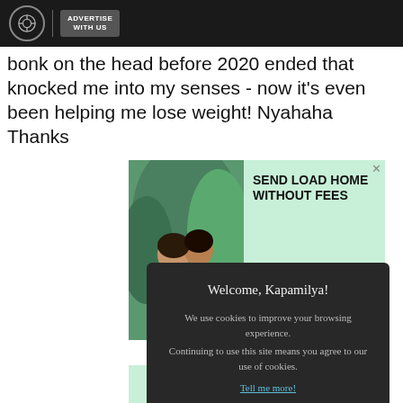ADVERTISE WITH US
bonk on the head before 2020 ended that knocked me into my senses - now it's even been helping me lose weight! Nyahaha! Thanks
[Figure (photo): Advertisement banner: Two young girls in school uniforms looking at a smartphone, with text 'SEND LOAD HOME WITHOUT FEES', a 'Send load' button, and the 'ding' logo on a mint green background]
[Figure (screenshot): Cookie consent modal dialog with dark background reading 'Welcome, Kapamilya! We use cookies to improve your browsing experience. Continuing to use this site means you agree to our use of cookies. Tell me more!' and an 'I AGREE!' button]
[Figure (photo): Partial second ad banner visible at bottom: 'Send load' button on mint green background with 'ding' logo partially visible]